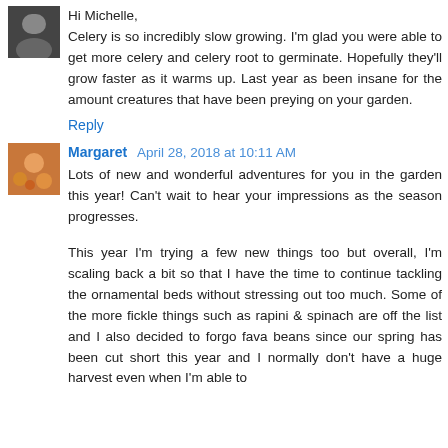Hi Michelle,
Celery is so incredibly slow growing. I'm glad you were able to get more celery and celery root to germinate. Hopefully they'll grow faster as it warms up. Last year as been insane for the amount creatures that have been preying on your garden.
Reply
Margaret  April 28, 2018 at 10:11 AM
Lots of new and wonderful adventures for you in the garden this year! Can't wait to hear your impressions as the season progresses.
This year I'm trying a few new things too but overall, I'm scaling back a bit so that I have the time to continue tackling the ornamental beds without stressing out too much. Some of the more fickle things such as rapini & spinach are off the list and I also decided to forgo fava beans since our spring has been cut short this year and I normally don't have a huge harvest even when I'm able to